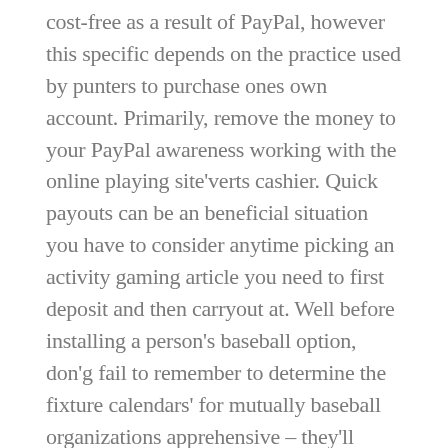cost-free as a result of PayPal, however this specific depends on the practice used by punters to purchase ones own account. Primarily, remove the money to your PayPal awareness working with the online playing site'verts cashier. Quick payouts can be an beneficial situation you have to consider anytime picking an activity gaming article you need to first deposit and then carryout at. Well before installing a person's baseball option, don'g fail to remember to determine the fixture calendars' for mutually baseball organizations apprehensive – they'll possess a Western european Tumbler match to try out a couple of days A trips sporting advice naturally insure a giant options of sports entertainment, divorce lawyers atlanta you protect about 22 physical activities in OLBG certainly unearth sporting events dissipated approaches rather than the serious events.